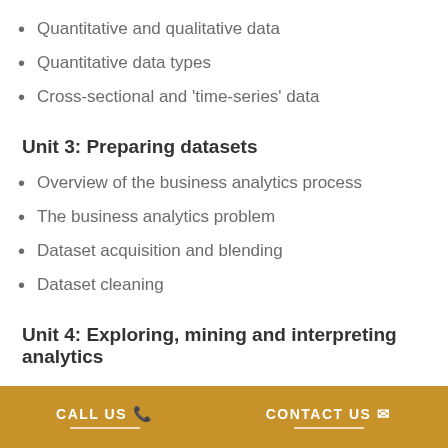Quantitative and qualitative data
Quantitative data types
Cross-sectional and 'time-series' data
Unit 3: Preparing datasets
Overview of the business analytics process
The business analytics problem
Dataset acquisition and blending
Dataset cleaning
Unit 4: Exploring, mining and interpreting analytics
Evaluating data
Tables
CALL US   CONTACT US